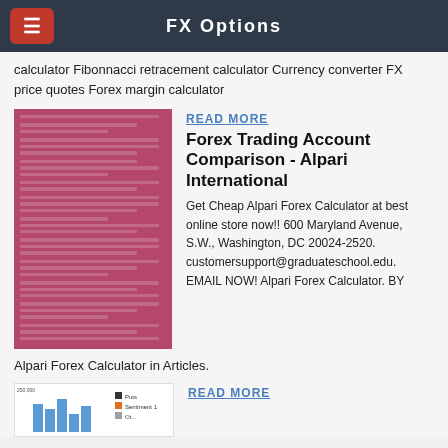FX Options
calculator Fibonnacci retracement calculator Currency converter FX price quotes Forex margin calculator
READ MORE
Forex Trading Account Comparison - Alpari International
Get Cheap Alpari Forex Calculator at best online store now!! 600 Maryland Avenue, S.W., Washington, DC 20024-2520. customersupport@graduateschool.edu. EMAIL NOW! Alpari Forex Calculator. BY Alpari Forex Calculator in Articles.
[Figure (screenshot): Pink/mauve colored document screenshot with white text lines]
READ MORE
[Figure (bar-chart): Partial bar chart visible at bottom of page with legend showing Puts, Sentiment 1, and another series]